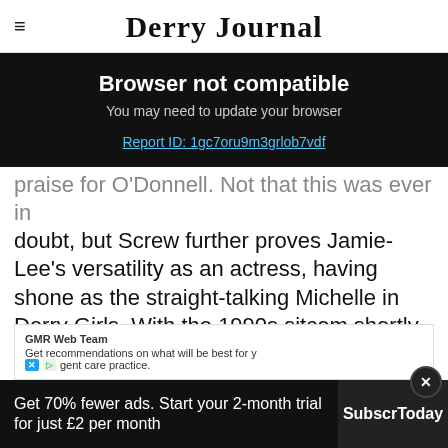Derry Journal
Browser not compatible
You may need to update your browser
Report ID: 1gc7oru9m3grlob7vdf
praise for O'Donnell. Not that this was ever in doubt, but Screw further proves Jamie-Lee's versatility as an actress, having shone as the straight-talking Michelle in Derry Girls. With the 1990s sitcom shortly coming to an end, it's thrilling [to see her take on] a new e[xcell]ent care practice.
GMR Web Team
Get recommendations on what will be best for y[our] [pati]ent care practice.
Get 70% fewer ads. Start your 2-month trial for just £2 per month
Subscr[ibe] Today